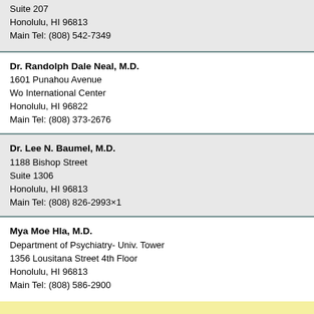Suite 207
Honolulu, HI 96813
Main Tel: (808) 542-7349
Dr. Randolph Dale Neal, M.D.
1601 Punahou Avenue
Wo International Center
Honolulu, HI 96822
Main Tel: (808) 373-2676
Dr. Lee N. Baumel, M.D.
1188 Bishop Street
Suite 1306
Honolulu, HI 96813
Main Tel: (808) 826-2993×1
Mya Moe Hla, M.D.
Department of Psychiatry- Univ. Tower
1356 Lousitana Street 4th Floor
Honolulu, HI 96813
Main Tel: (808) 586-2900